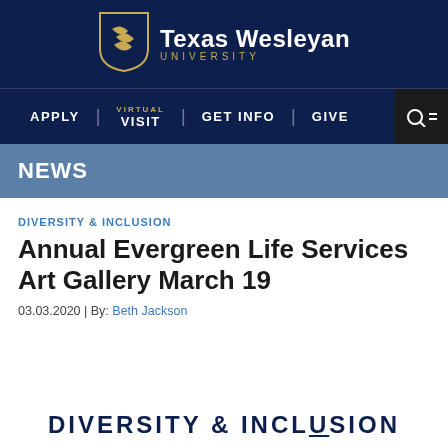[Figure (logo): Texas Wesleyan University logo with shield icon and university name]
APPLY | VIRTUAL VISIT | GET INFO | GIVE
NEWS
DIVERSITY & INCLUSION
Annual Evergreen Life Services Art Gallery March 19
03.03.2020 | By: Beth Jackson
DIVERSITY & INCLUSION